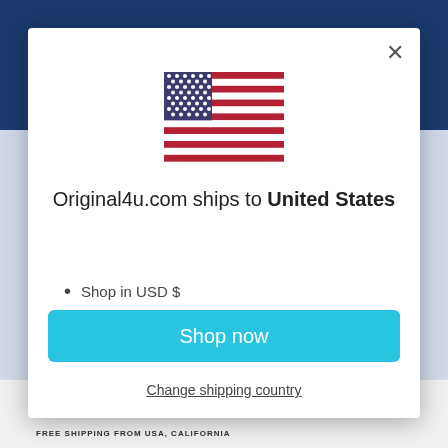[Figure (screenshot): Website header with dark blue navigation bar visible behind modal]
[Figure (illustration): US flag SVG illustration centered in modal dialog]
Original4u.com ships to United States
Shop in USD $
Get shipping options for United States
Shop now
Change shipping country
[Figure (illustration): Small US flag and FREE SHIPPING FROM USA, CALIFORNIA text at bottom of page]